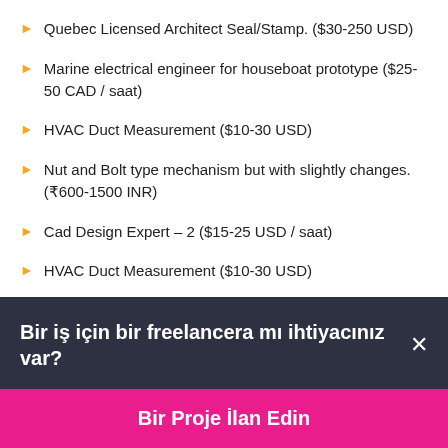Quebec Licensed Architect Seal/Stamp. ($30-250 USD)
Marine electrical engineer for houseboat prototype ($25-50 CAD / saat)
HVAC Duct Measurement ($10-30 USD)
Nut and Bolt type mechanism but with slightly changes. (₹600-1500 INR)
Cad Design Expert – 2 ($15-25 USD / saat)
HVAC Duct Measurement ($10-30 USD)
Bir iş için bir freelancera mı ihtiyacınız var? ×
Bir Proje İlan Edin